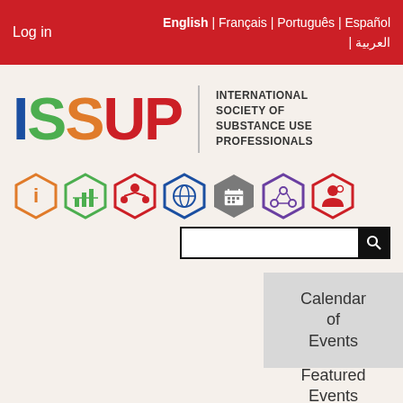Log in | English | Français | Português | Español | العربية
[Figure (logo): ISSUP logo — colored letters I (blue), S (green), S (orange), U (red), P (red) followed by text: INTERNATIONAL SOCIETY OF SUBSTANCE USE PROFESSIONALS, with hexagonal navigation icons below]
Calendar of Events
Featured Events
ISSUP Workshops